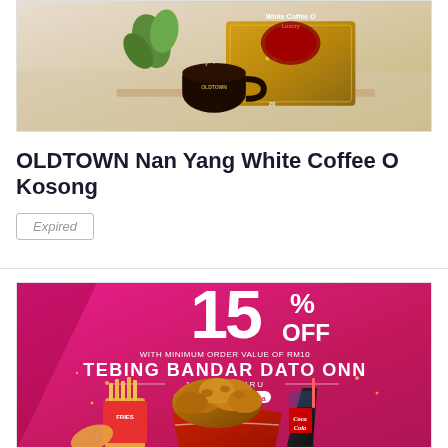[Figure (photo): OLDTOWN White Coffee O Kosong product packaging with a coffee mug and golden box on a wooden surface with green plant in background]
OLDTOWN Nan Yang White Coffee O Kosong
Expired
[Figure (photo): Promotional banner: 15% OFF with minimum order value of RM10 at Tebing Bandar Dato Onn, Johor Bahru, only on foodpanda. Shows fried chicken bucket, fries, and Coca-Cola on pink background.]